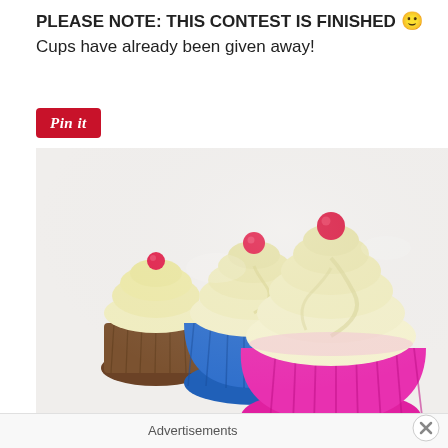PLEASE NOTE: THIS CONTEST IS FINISHED 🙂 Cups have already been given away!
[Figure (other): Pin it button - red rounded rectangle with italic white text 'Pin it']
[Figure (photo): Three cupcakes with cream/butter frosting and red candy balls on top, in pink, blue, and brown cupcake wrappers, photographed on white background]
Advertisements